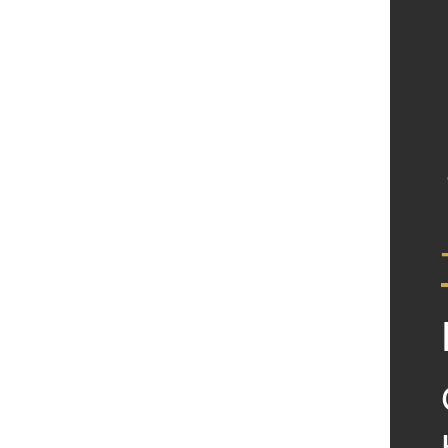Maximum spe…
Maximum ran…
User weight li…
The power pa…
Transporta…
Pride GoG…
Can be taken … However, som… different comp…
Suitable for in… pavements ar… hill climbers.